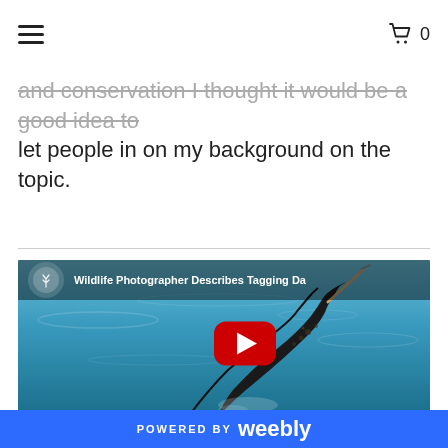≡  0
and conservation I thought it would be a good idea to let people in on my background on the topic.
[Figure (screenshot): YouTube video thumbnail showing a dolphin being tagged, with title 'Wildlife Photographer Describes Tagging Da...' and a red YouTube play button overlay.]
POWERED BY weebly